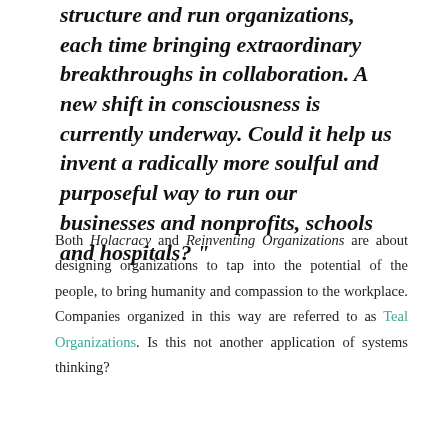structure and run organizations, each time bringing extraordinary breakthroughs in collaboration. A new shift in consciousness is currently underway. Could it help us invent a radically more soulful and purposeful way to run our businesses and nonprofits, schools and hospitals? "
Both Holacracy and Reinventing Organizations are about designing organizations to tap into the potential of the people, to bring humanity and compassion to the workplace. Companies organized in this way are referred to as Teal Organizations. Is this not another application of systems thinking?